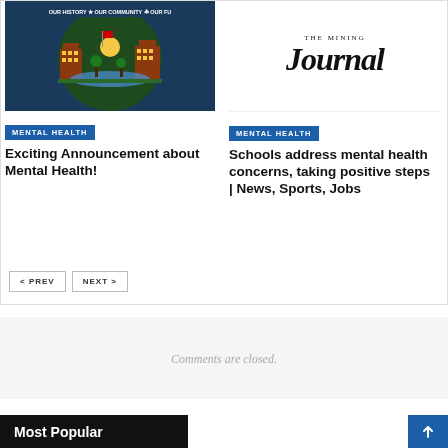[Figure (illustration): Community seal/logo with buildings, trees, and text about history, community, future]
MENTAL HEALTH
Exciting Announcement about Mental Health!
[Figure (logo): The Mining Journal logo]
MENTAL HEALTH
Schools address mental health concerns, taking positive steps | News, Sports, Jobs
PREV
NEXT
Comments are closed.
Most Popular